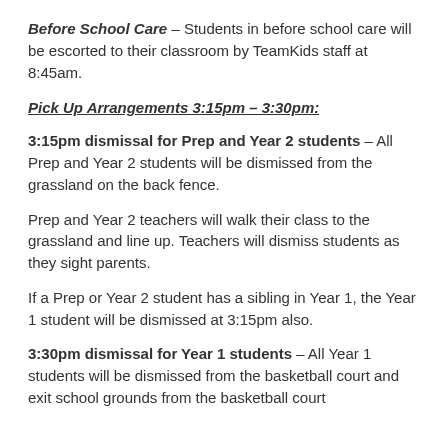Before School Care – Students in before school care will be escorted to their classroom by TeamKids staff at 8:45am.
Pick Up Arrangements 3:15pm – 3:30pm:
3:15pm dismissal for Prep and Year 2 students – All Prep and Year 2 students will be dismissed from the grassland on the back fence.
Prep and Year 2 teachers will walk their class to the grassland and line up. Teachers will dismiss students as they sight parents.
If a Prep or Year 2 student has a sibling in Year 1, the Year 1 student will be dismissed at 3:15pm also.
3:30pm dismissal for Year 1 students – All Year 1 students will be dismissed from the basketball court and exit school grounds from the basketball court